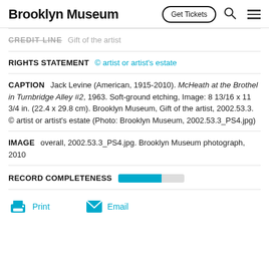Brooklyn Museum  Get Tickets
CREDIT LINE  Gift of the artist
RIGHTS STATEMENT  © artist or artist's estate
CAPTION  Jack Levine (American, 1915-2010). McHeath at the Brothel in Turnbridge Alley #2, 1963. Soft-ground etching, Image: 8 13/16 x 11 3/4 in. (22.4 x 29.8 cm). Brooklyn Museum, Gift of the artist, 2002.53.3. © artist or artist's estate (Photo: Brooklyn Museum, 2002.53.3_PS4.jpg)
IMAGE  overall, 2002.53.3_PS4.jpg. Brooklyn Museum photograph, 2010
RECORD COMPLETENESS
Print  Email